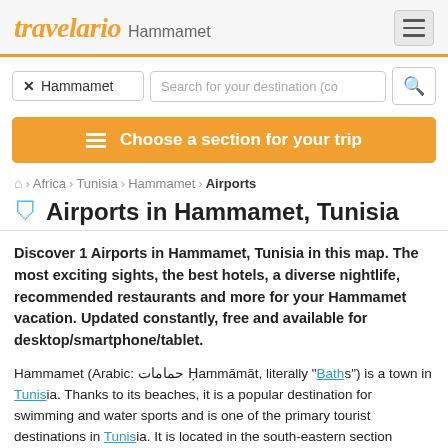travelario Hammamet
[Figure (screenshot): Search bar with 'Hammamet' tag, destination input field, and search button]
Choose a section for your trip
Home › Africa › Tunisia › Hammamet › Airports
Airports in Hammamet, Tunisia
Discover 1 Airports in Hammamet, Tunisia in this map. The most exciting sights, the best hotels, a diverse nightlife, recommended restaurants and more for your Hammamet vacation. Updated constantly, free and available for desktop/smartphone/tablet.
Hammamet (Arabic: حمامات Ḥammāmāt, literally "Baths") is a town in Tunisia. Thanks to its beaches, it is a popular destination for swimming and water sports and is one of the primary tourist destinations in Tunisia. It is located in the south-eastern section